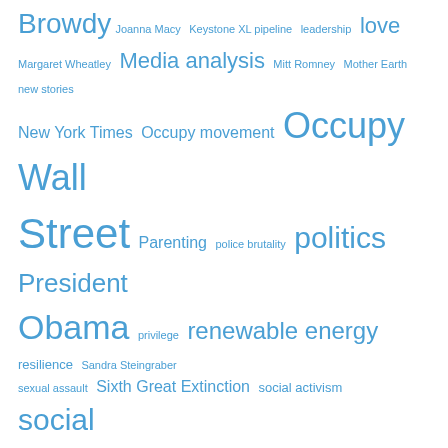[Figure (other): Tag cloud with various social, political, and environmental topics displayed in different font sizes in blue color. Tags include: Browdy, Joanna Macy, Keystone XL pipeline, leadership, love, Margaret Wheatley, Media analysis, Mitt Romney, Mother Earth, new stories, New York Times, Occupy movement, Occupy Wall Street, Parenting, police brutality, politics, President Obama, privilege, renewable energy, resilience, Sandra Steingraber, sexual assault, Sixth Great Extinction, social activism, social change, social justice, spiritual ecology, Standing Rock, sustainable future, tar sands, Thanksgiving, The New York Times, Transition Times, United Nations, Violence, Wall Street protests, war, women's human rights, Women's March on Washington]
Archives